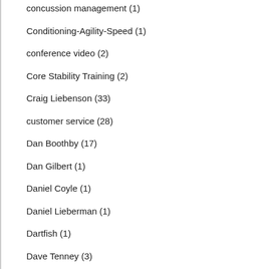concussion management (1)
Conditioning-Agility-Speed (1)
conference video (2)
Core Stability Training (2)
Craig Liebenson (33)
customer service (28)
Dan Boothby (17)
Dan Gilbert (1)
Daniel Coyle (1)
Daniel Lieberman (1)
Dartfish (1)
Dave Tenney (3)
deadlift Art Horne (1)
Derek Hansen (6)
Derek Hanson (1)